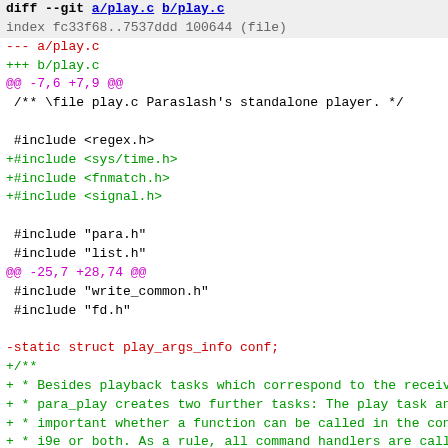[Figure (screenshot): A unified diff output for play.c showing file header, hunk headers, context lines, removed line (static struct play_args_info conf;), and added lines including new #include statements and a multi-line comment block.]